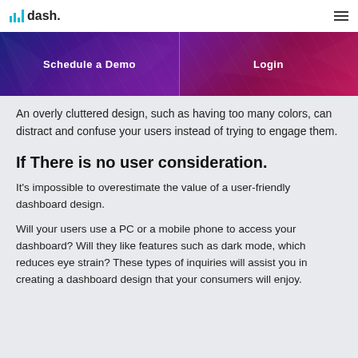dash.
[Figure (screenshot): Navigation banner with two panels: 'Schedule a Demo' on the left with dark purple geometric polygon background, and 'Login' on the right with purple-pink geometric polygon background]
An overly cluttered design, such as having too many colors, can distract and confuse your users instead of trying to engage them.
If There is no user consideration.
It's impossible to overestimate the value of a user-friendly dashboard design.
Will your users use a PC or a mobile phone to access your dashboard? Will they like features such as dark mode, which reduces eye strain? These types of inquiries will assist you in creating a dashboard design that your consumers will enjoy.